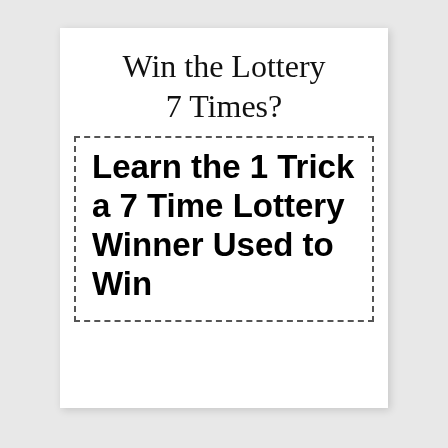Win the Lottery 7 Times?
Learn the 1 Trick a 7 Time Lottery Winner Used to Win